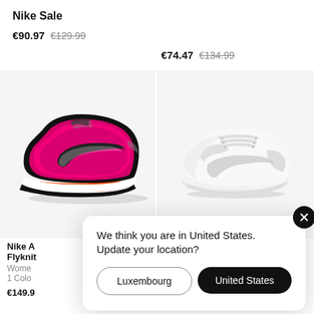Nike Sale
€90.97  €129.99
€74.47  €134.99
[Figure (photo): Nike Air Zoom Alphafly NEXT% Flyknit running shoe in pink/black colorway on light gray background]
[Figure (photo): Nike Huarache sneaker in all-white colorway on light gray background]
Nike A... Flyknit
Wome...
1 Colo...
€149.9...
We think you are in United States. Update your location?
Luxembourg
United States